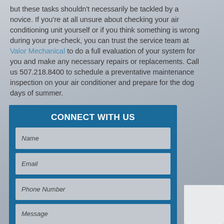but these tasks shouldn't necessarily be tackled by a novice. If you're at all unsure about checking your air conditioning unit yourself or if you think something is wrong during your pre-check, you can trust the service team at Valor Mechanical to do a full evaluation of your system for you and make any necessary repairs or replacements. Call us 507.218.8400 to schedule a preventative maintenance inspection on your air conditioner and prepare for the dog days of summer.
[Figure (other): Contact form widget with blue header 'CONNECT WITH US' and input fields for Name, Email, Phone Number, and Message on a grey gradient background]